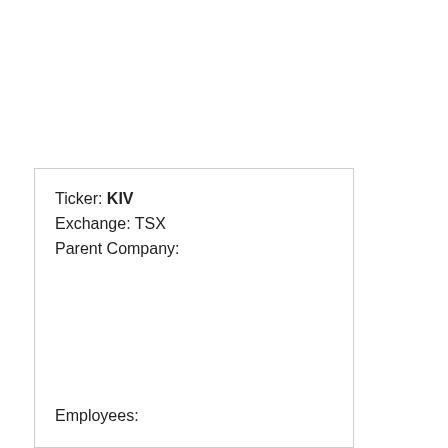Ticker: KIV
Exchange: TSX
Parent Company:
Employees: